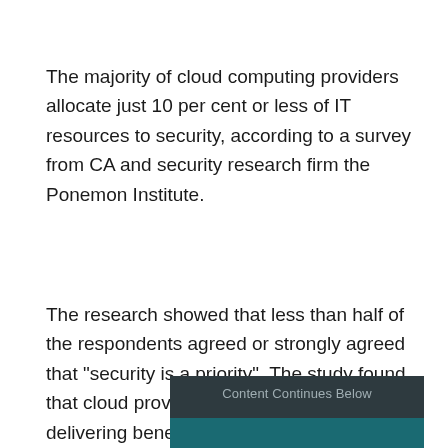The majority of cloud computing providers allocate just 10 per cent or less of IT resources to security, according to a survey from CA and security research firm the Ponemon Institute.
The research showed that less than half of the respondents agreed or strongly agreed that "security is a priority". The study found that cloud providers are more focused on delivering benefits such as reduced costs and speed of deployment, rather than security.
[Figure (other): Dark banner graphic with text 'Content Continues Below' and a teal strip below it]